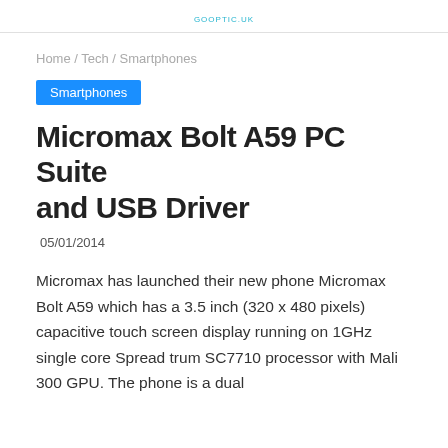GOOPTIC.UK
Home / Tech / Smartphones
Smartphones
Micromax Bolt A59 PC Suite and USB Driver
05/01/2014
Micromax has launched their new phone Micromax Bolt A59 which has a 3.5 inch (320 x 480 pixels) capacitive touch screen display running on 1GHz single core Spread trum SC7710 processor with Mali 300 GPU. The phone is a dual